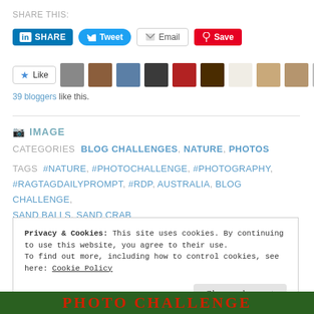SHARE THIS:
[Figure (screenshot): Social sharing buttons: LinkedIn SHARE, Tweet, Email, Save (Pinterest)]
[Figure (screenshot): Like button and row of blogger avatar thumbnails. 39 bloggers like this.]
39 bloggers like this.
IMAGE
CATEGORIES  BLOG CHALLENGES, NATURE, PHOTOS
TAGS  #NATURE, #PHOTOCHALLENGE, #PHOTOGRAPHY, #RAGTAGDAILYPROMPT, #RDP, AUSTRALIA, BLOG CHALLENGE, SAND BALLS, SAND CRAB
Privacy & Cookies: This site uses cookies. By continuing to use this website, you agree to their use. To find out more, including how to control cookies, see here: Cookie Policy
[Figure (photo): Bottom image bar with red text on green background reading PHOTO CHALLENGE]